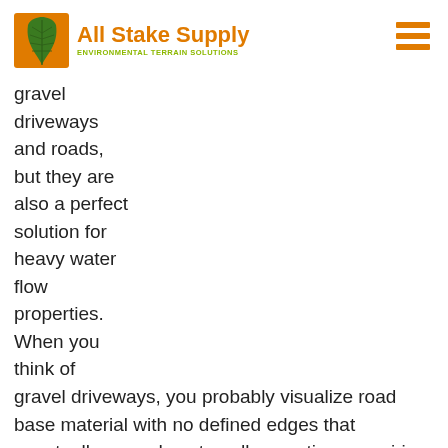All Stake Supply — ENVIRONMENTAL TERRAIN SOLUTIONS
gravel driveways and roads, but they are also a perfect solution for heavy water flow properties. When you think of gravel driveways, you probably visualize road base material with no defined edges that eventually spreads outwardly over time, requiring top ups and regular maintenance.
Econogrids lock together to create a solid base that can be filled with gravel, providing a tidy solution that will prevent gravel spread. It requires little maintenance and is strong